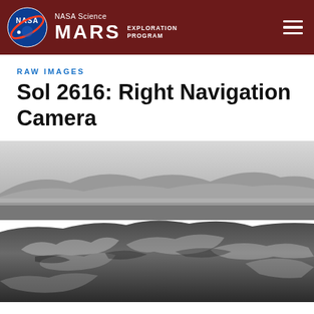NASA Science MARS EXPLORATION PROGRAM
RAW IMAGES
Sol 2616: Right Navigation Camera
[Figure (photo): Black and white raw image from the Mars Curiosity Rover Right Navigation Camera on Sol 2616, showing rocky Martian terrain in the foreground with layered rock formations, and distant hills/mountains in the background under a hazy sky.]